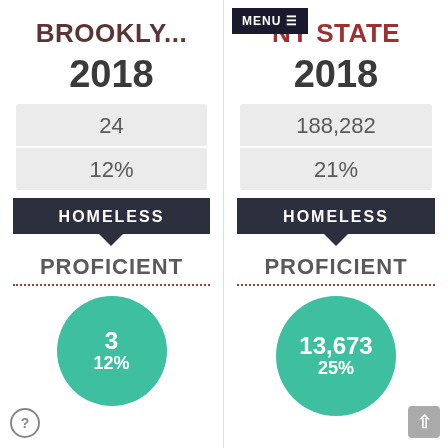BROOKLY...
2018
| 24 |
| 12% |
HOMELESS
PROFICIENT
[Figure (infographic): Teal circle with text: 3 / 12%]
NY STATE
2018
| 188,282 |
| 21% |
HOMELESS
PROFICIENT
[Figure (infographic): Teal circle with text: 13,673 / 25%]